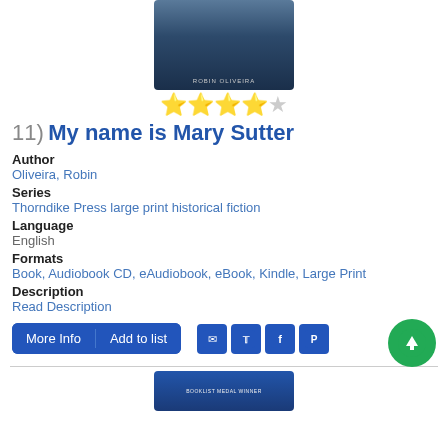[Figure (photo): Book cover for 'My name is Mary Sutter' by Robin Oliveira, showing a dark blue atmospheric cover image]
[Figure (other): 4 out of 5 stars rating displayed as yellow/gray star icons]
11) My name is Mary Sutter
Author
Oliveira, Robin
Series
Thorndike Press large print historical fiction
Language
English
Formats
Book, Audiobook CD, eAudiobook, eBook, Kindle, Large Print
Description
Read Description
[Figure (screenshot): More Info and Add to list buttons, social sharing icons (email, twitter, facebook, pinterest), and green scroll-to-top button]
[Figure (photo): Bottom portion of next book cover, showing a blue banner with text]